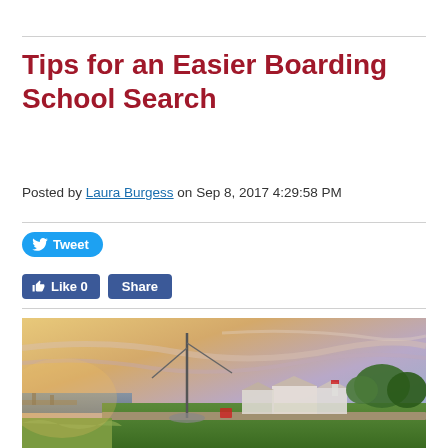Tips for an Easier Boarding School Search
Posted by Laura Burgess on Sep 8, 2017 4:29:58 PM
[Figure (other): Social media buttons: Tweet button (Twitter/blue), Like 0 and Share buttons (Facebook/blue)]
[Figure (photo): Scenic coastal landscape at sunset with a sailboat mast in foreground, green marsh grass, stone wall, and New England-style white buildings with trees in background under a colorful sky]